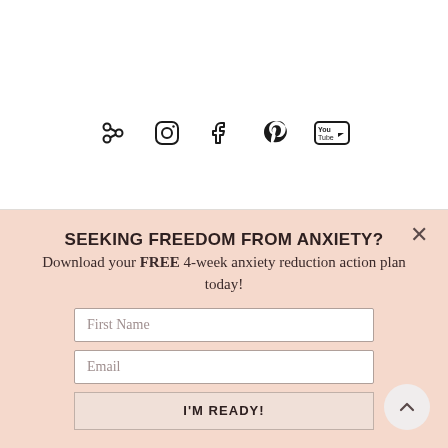[Figure (other): Social media icons row: link/chain icon, Instagram camera icon, Facebook f icon, Pinterest icon, YouTube icon]
SEEKING FREEDOM FROM ANXIETY?
Download your FREE 4-week anxiety reduction action plan today!
First Name (input field)
Email (input field)
I'M READY! (button)